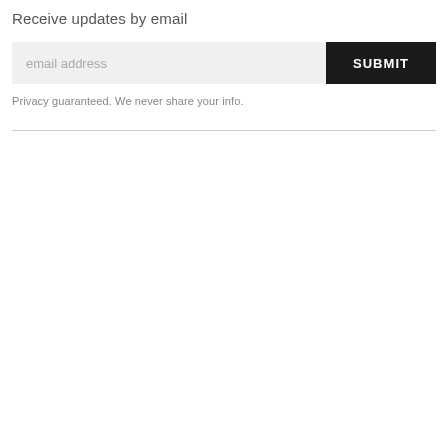Receive updates by email
email address
SUBMIT
Privacy guaranteed. We never share your info.